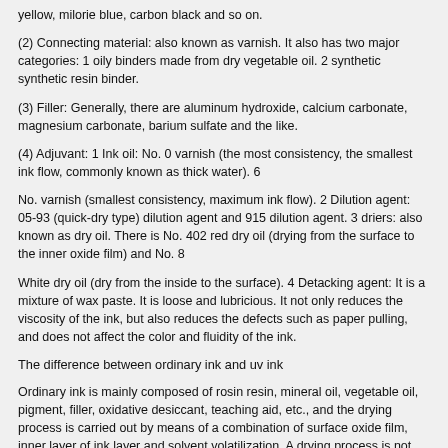yellow, milorie blue, carbon black and so on.
(2) Connecting material: also known as varnish. It also has two major categories: 1 oily binders made from dry vegetable oil. 2 synthetic synthetic resin binder.
(3) Filler: Generally, there are aluminum hydroxide, calcium carbonate, magnesium carbonate, barium sulfate and the like.
(4) Adjuvant: 1 Ink oil: No. 0 varnish (the most consistency, the smallest ink flow, commonly known as thick water). 6
No. varnish (smallest consistency, maximum ink flow). 2 Dilution agent: 05-93 (quick-dry type) dilution agent and 915 dilution agent. 3 driers: also known as dry oil. There is No. 402 red dry oil (drying from the surface to the inner oxide film) and No. 8
White dry oil (dry from the inside to the surface). 4 Detacking agent: It is a mixture of wax paste. It is loose and lubricious. It not only reduces the viscosity of the ink, but also reduces the defects such as paper pulling, and does not affect the color and fluidity of the ink.
The difference between ordinary ink and uv ink
Ordinary ink is mainly composed of rosin resin, mineral oil, vegetable oil, pigment, filler, oxidative desiccant, teaching aid, etc., and the drying process is carried out by means of a combination of surface oxide film, inner layer of ink layer and solvent volatilization. A drying process is not sensitive to temperature and has a wide temperature range. At the same time, the daily illumination source has almost no effect on the drying process of ordinary ink, but it is necessary to avoid contact with oxygen for too long in the process of transporting and using ordinary ink.
UV ink is mainly composed of unsaturated resin, prepolymer, photoinitiator, diluent, pigment, filler, auxiliary agent, etc. The curing process is under the irradiation of ultraviolet light, and the photoinitiator absorbs the radiant energy of ultraviolet light and splits. The free radicals are